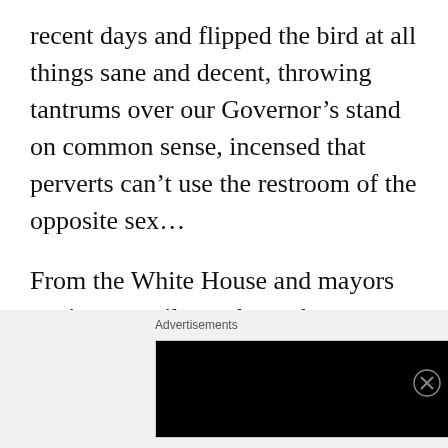recent days and flipped the bird at all things sane and decent, throwing tantrums over our Governor’s stand on common sense, incensed that perverts can’t use the restroom of the opposite sex...
From the White House and mayors to city council members, they came out swinging their swords against North Carolina’s “anti-LGBT” law, HB2. New York Governor Andrew Cuomo signed an executive order banning travel to NC...Bruce
Advertisements
[Figure (other): Longreads advertisement banner: black background with red circular logo containing 'L', site name 'LONGREADS' in white uppercase, and tagline 'Read anything great lately?' in light gray text.]